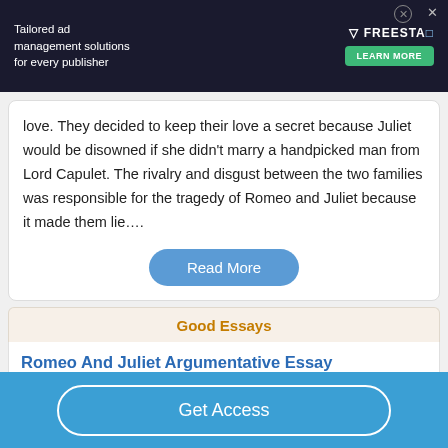[Figure (other): Advertisement banner: Tailored ad management solutions for every publisher — FREESTA logo with Learn More button]
love. They decided to keep their love a secret because Juliet would be disowned if she didn't marry a handpicked man from Lord Capulet. The rivalry and disgust between the two families was responsible for the tragedy of Romeo and Juliet because it made them lie....
Read More
Good Essays
Romeo And Juliet Argumentative Essay
Get Access